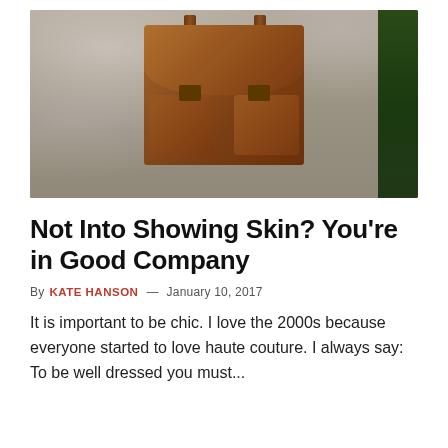[Figure (photo): A brown leather messenger bag with buckles and dual front pockets, resting on a stone surface against a stone wall background with green foliage on the right.]
Not Into Showing Skin? You're in Good Company
By KATE HANSON — January 10, 2017
It is important to be chic. I love the 2000s because everyone started to love haute couture. I always say: To be well dressed you must...